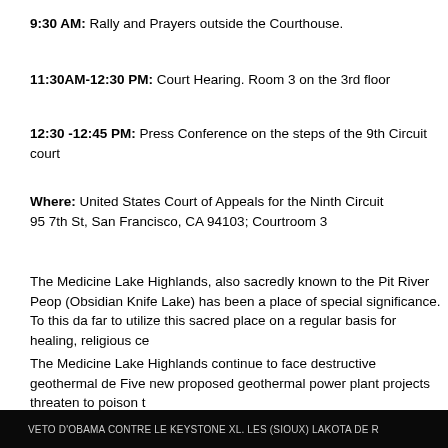9:30 AM: Rally and Prayers outside the Courthouse.
11:30AM-12:30 PM: Court Hearing. Room 3 on the 3rd floor
12:30 -12:45 PM: Press Conference on the steps of the 9th Circuit court
Where: United States Court of Appeals for the Ninth Circuit
95 7th St, San Francisco, CA 94103; Courtroom 3
The Medicine Lake Highlands, also sacredly known to the Pit River People (Obsidian Knife Lake) has been a place of special significance. To this day, tribal members travel from far to utilize this sacred place on a regular basis for healing, religious ceremonies, and prayer.
The Medicine Lake Highlands continue to face destructive geothermal development threats. Five new proposed geothermal power plant projects threaten to poison the land and water.
www.protectmedicinelake.org
530-335-5421 ext. 1205
protectmedicinelake@gmail.com
www.protectmedicinelake.org
VETO D'OBAMA CONTRE LE KEYSTONE XL. LES (SIOUX) LAKOTA DE R...